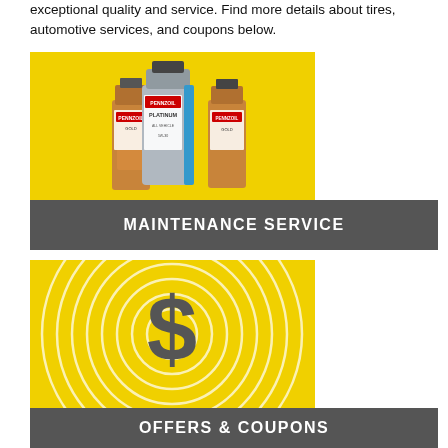exceptional quality and service. Find more details about tires, automotive services, and coupons below.
[Figure (photo): Yellow background with three Pennzoil motor oil bottles (Platinum, Gold, and another variant) arranged together]
MAINTENANCE SERVICE
[Figure (illustration): Yellow background with concentric white circles and a large dark dollar sign ($) in the center]
OFFERS & COUPONS